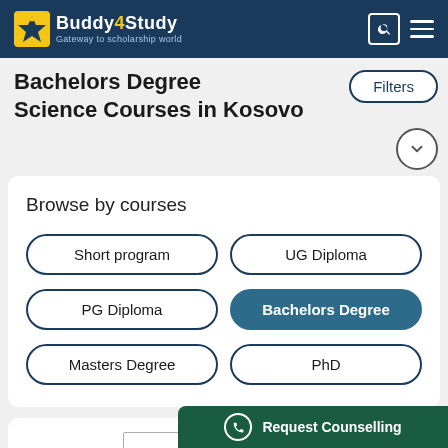Buddy4Study - Gateway to scholarship world
Bachelors Degree Science Courses in Kosovo
Filters
Browse by courses
Short program
UG Diploma
PG Diploma
Bachelors Degree
Masters Degree
PhD
Request Counselling